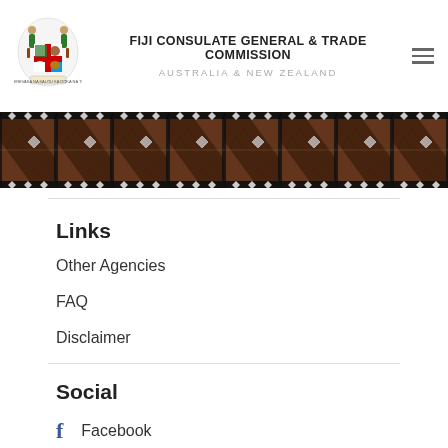FIJI CONSULATE GENERAL & TRADE COMMISSION
AUSTRALIA & NEW ZEALAND
[Figure (illustration): Fiji coat of arms logo]
[Figure (illustration): Tapa cloth decorative banner with brown and black geometric pattern]
Links
Other Agencies
FAQ
Disclaimer
Social
Facebook